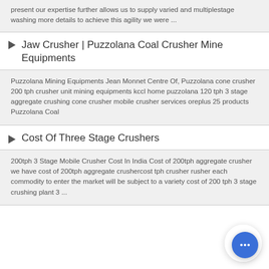present our expertise further allows us to supply varied and multiplestage washing more details to achieve this agility we were ...
Jaw Crusher | Puzzolana Coal Crusher Mine Equipments
Puzzolana Mining Equipments Jean Monnet Centre Of, Puzzolana cone crusher 200 tph crusher unit mining equipments kccl home puzzolana 120 tph 3 stage aggregate crushing cone crusher mobile crusher services oreplus 25 products Puzzolana Coal
Cost Of Three Stage Crushers
200tph 3 Stage Mobile Crusher Cost In India Cost of 200tph aggregate crusher we have cost of 200tph aggregate crushercost tph crusher rusher each commodity to enter the market will be subject to a variety cost of 200 tph 3 stage crushing plant 3 ...